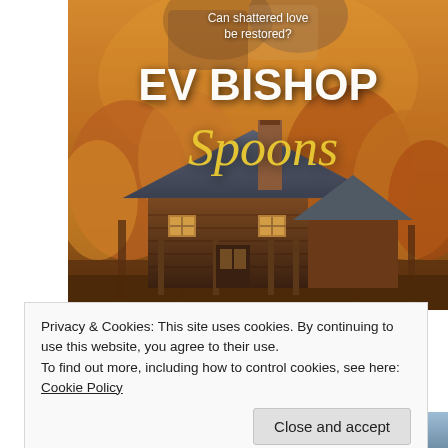[Figure (illustration): Book cover for 'Spoons' by Ev Bishop. Shows an autumn scene with a rustic log cabin, fall foliage in warm orange and amber tones, with a couple embracing at the top. Text reads: 'Can shattered love be restored?' in white, 'EV BISHOP' in large white bold letters, and 'Spoons' in large gold/yellow italic script.]
Privacy & Cookies: This site uses cookies. By continuing to use this website, you agree to their use.
To find out more, including how to control cookies, see here: Cookie Policy
Close and accept
[Figure (photo): Partial bottom image showing what appears to be a person, cropped, with blue/sky background.]